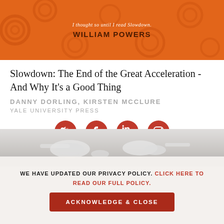[Figure (illustration): Orange book banner with swirl patterns and text 'I thought so until I read Slowdown. WILLIAM POWERS' in dark brown bold lettering]
Slowdown: The End of the Great Acceleration - And Why It's a Good Thing
DANNY DORLING, KIRSTEN MCCLURE
YALE UNIVERSITY PRESS
[Figure (infographic): Four red circular social media icons: Twitter, Facebook, LinkedIn, Instagram]
[Figure (photo): Photo of white earphones/headphones on light grey background]
WE HAVE UPDATED OUR PRIVACY POLICY. CLICK HERE TO READ OUR FULL POLICY.
ACKNOWLEDGE & CLOSE